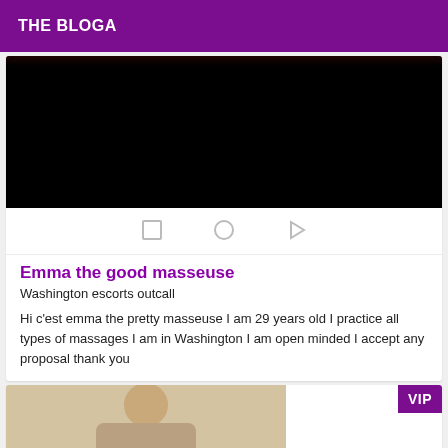THE BLOGA
[Figure (photo): Dark/black video placeholder with navigation icons (square, circle, triangle/play) below]
Emma the good masseuse
Washington escorts outcall
Hi c'est emma the pretty masseuse I am 29 years old I practice all types of massages I am in Washington I am open minded I accept any proposal thank you
[Figure (photo): Photo of a blonde woman, with VIP badge in top right corner]